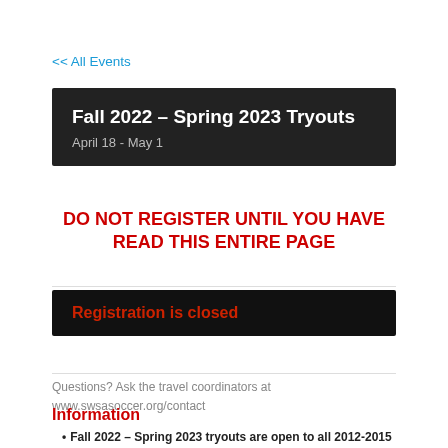<< All Events
Fall 2022 – Spring 2023 Tryouts
April 18 - May 1
DO NOT REGISTER UNTIL YOU HAVE READ THIS ENTIRE PAGE
Registration is closed
Questions? Ask the travel coordinators at www.swsasoccer.org/contact
Information
Fall 2022 – Spring 2023 tryouts are open to all 2012-2015 birth years (and advanced 2016 birth